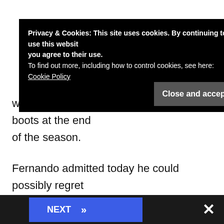where Fernando hangs up his racing boots at the end of the season.
Fernando admitted today he could possibly regret leaving Ferrari. "It's a question that I expect, because Ferrari winning the second race and me out [of qualifying] before Q2 is a perfect moment to ask. But I spent five ye... had second ee
[Figure (screenshot): Cookie consent banner overlay with black background: 'Privacy & Cookies: This site uses cookies. By continuing to use this website you agree to their use. To find out more, including how to control cookies, see here: Cookie Policy' with a 'Close and accept' button.]
[Figure (screenshot): Bottom navigation bar with a blue 'NEXT >>' button and an X close button on a dark background.]